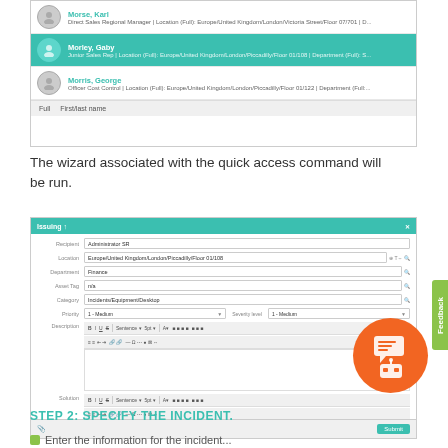[Figure (screenshot): Search results list showing person entries: Morse Karl (Direct Sales Regional Manager), Morley Gaby highlighted in teal (Junior Sales Rep), and Morris George (Officer Cost Control), with location details for London]
The wizard associated with the quick access command will be run.
[Figure (screenshot): A ticket/issue creation form wizard with fields for Recipient (Administrator SR), Location (Europe/United Kingdom/London/Piccadilly/Floor 01/108), Department (Finance), Asset Tag (n/a), Category (Incidents/Equipment/Desktop), Priority (1-Medium), and description/solution rich text editors with toolbars. A Submit button appears at bottom right.]
Step 2: Specify the incident.
Enter the information for the incident...